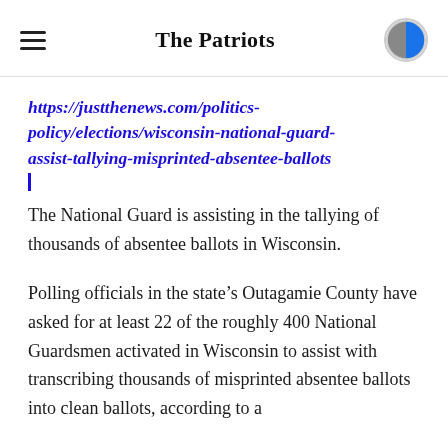The Patriots
https://justthenews.com/politics-policy/elections/wisconsin-national-guard-assist-tallying-misprinted-absentee-ballots
The National Guard is assisting in the tallying of thousands of absentee ballots in Wisconsin.
Polling officials in the state’s Outagamie County have asked for at least 22 of the roughly 400 National Guardsmen activated in Wisconsin to assist with transcribing thousands of misprinted absentee ballots into clean ballots, according to a